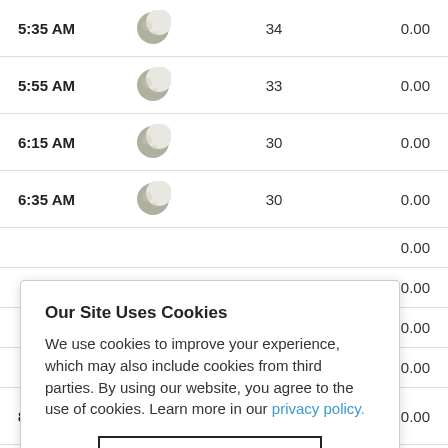| Time | Icon | Temp | Precip |
| --- | --- | --- | --- |
| 5:35 AM | [moon] | 34 | 0.00 |
| 5:55 AM | [moon] | 33 | 0.00 |
| 6:15 AM | [moon] | 30 | 0.00 |
| 6:35 AM | [moon] | 30 | 0.00 |
|  |  |  | 0.00 |
|  |  |  | 0.00 |
|  |  |  | 0.00 |
|  |  |  | 0.00 |
| 8:15 AM | [sun] | 27 | 0.00 |
Our Site Uses Cookies
We use cookies to improve your experience, which may also include cookies from third parties. By using our website, you agree to the use of cookies. Learn more in our privacy policy.
ACCEPT & CLOSE